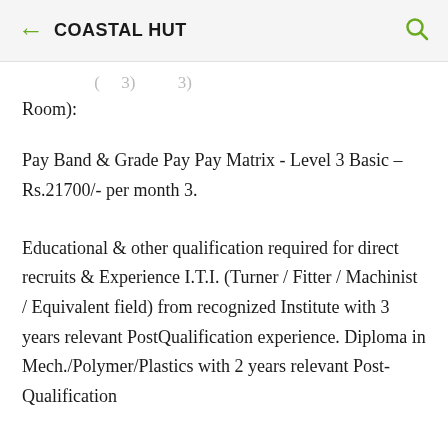← COASTAL HUT 🔍
Room):
Pay Band & Grade Pay Pay Matrix - Level 3 Basic – Rs.21700/- per month 3.
Educational & other qualification required for direct recruits & Experience I.T.I. (Turner / Fitter / Machinist / Equivalent field) from recognized Institute with 3 years relevant PostQualification experience. Diploma in Mech./Polymer/Plastics with 2 years relevant Post-Qualification